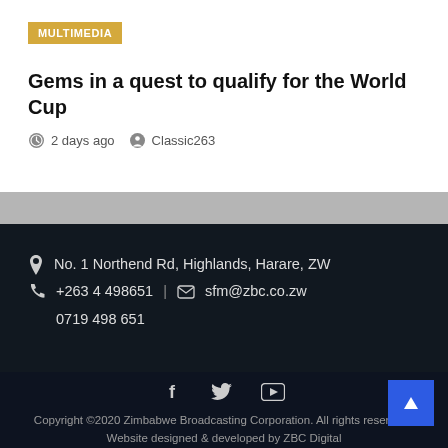MULTIMEDIA
Gems in a quest to qualify for the World Cup
2 days ago   Classic263
No. 1 Northend Rd, Highlands, Harare, ZW
+263 4 498651  |  sfm@zbc.co.zw
0719 498 651
Copyright ©2020 Zimbabwe Broadcasting Corporation. All rights reserved | Website designed & developed by ZBC Digital